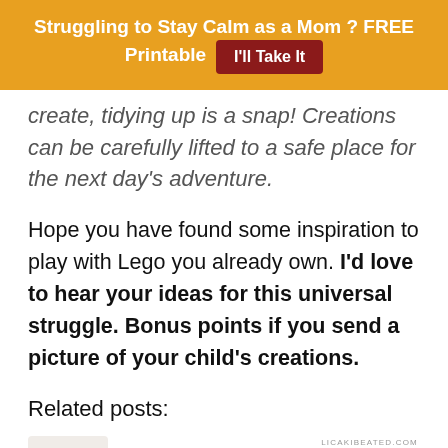Struggling to Stay Calm as a Mom ? FREE Printable  I'll Take It
create, tidying up is a snap! Creations can be carefully lifted to a safe place for the next day's adventure.
Hope you have found some inspiration to play with Lego you already own. I'd love to hear your ideas for this universal struggle. Bonus points if you send a picture of your child's creations.
Related posts:
[Figure (illustration): Partial thumbnail image for a related post titled '5 Ways to Stop' with a dog/cat illustration and site label LICAKIBEATED.COM]